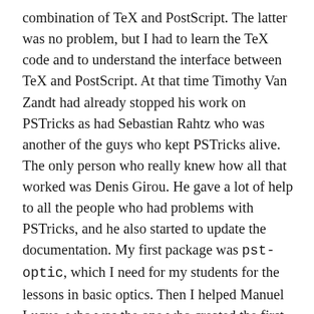combination of TeX and PostScript. The latter was no problem, but I had to learn the TeX code and to understand the interface between TeX and PostScript. At that time Timothy Van Zandt had already stopped his work on PSTricks as had Sebastian Rahtz who was another of the guys who kept PSTricks alive. The only person who really knew how all that worked was Denis Girou. He gave a lot of help to all the people who had problems with PSTricks, and he also started to update the documentation. My first package was pst-optic, which I need for my students for the lessons in basic optics. Then I helped Manuel Luque, who was the one who created the first 3D packages, to put it all in proper packages for TeX and LaTeX users. Together with Rolf Niepraschk we also created the LaTeX interface pstricks.sty.